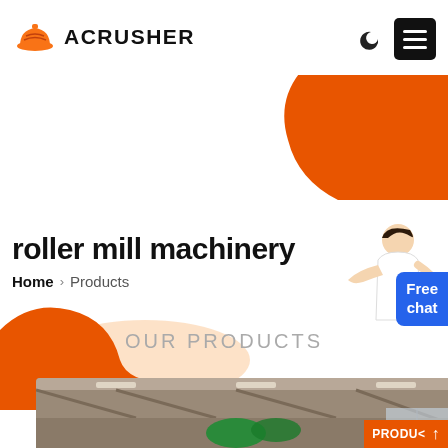[Figure (logo): Acrusher logo with orange hard-hat icon and bold ACRUSHER text]
[Figure (illustration): Orange decorative blob shape in top-right corner of header]
[Figure (illustration): Orange decorative blob shape in bottom-left of hero section]
roller mill machinery
Home > Products
[Figure (illustration): Person in white shirt with Free chat blue button on the right side]
OUR PRODUCTS
[Figure (photo): Industrial machinery interior photo showing crusher equipment, with PRODUC label and up-arrow button]